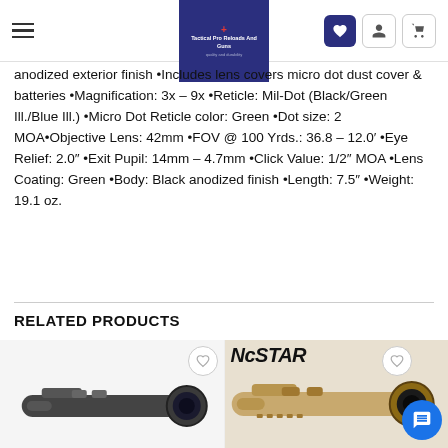Tactical Pro Reloads and Guns
anodized exterior finish •Includes lens covers micro dot dust cover & batteries •Magnification: 3x – 9x •Reticle: Mil-Dot (Black/Green Ill./Blue Ill.) •Micro Dot Reticle color: Green •Dot size: 2 MOA•Objective Lens: 42mm •FOV @ 100 Yrds.: 36.8 – 12.0′ •Eye Relief: 2.0″ •Exit Pupil: 14mm – 4.7mm •Click Value: 1/2″ MOA •Lens Coating: Green •Body: Black anodized finish •Length: 7.5″ •Weight: 19.1 oz.
RELATED PRODUCTS
[Figure (photo): Rifle scope product photo on left card]
[Figure (photo): NcSTAR branded rifle scope product photo on right card in tan/FDE finish]